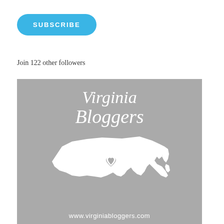[Figure (other): Blue rounded rectangle subscribe button with white text 'SUBSCRIBE']
Join 122 other followers
[Figure (logo): Virginia Bloggers logo: grey square with white script text 'Virginia Bloggers', white silhouette of Virginia state with a heart, and URL www.virginiabloggers.com at the bottom]